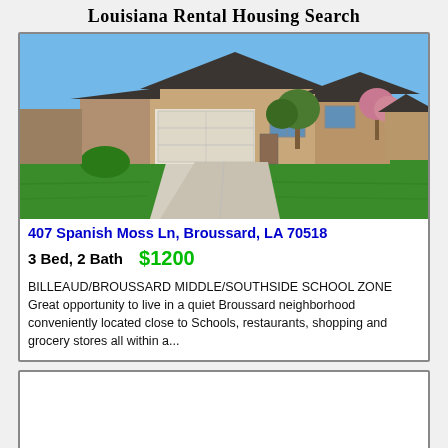Louisiana Rental Housing Search
[Figure (photo): Exterior photo of a single-story brick house with a two-car garage, concrete driveway, and green lawn against a blue sky.]
407 Spanish Moss Ln, Broussard, LA 70518
3 Bed, 2 Bath   $1200
BILLEAUD/BROUSSARD MIDDLE/SOUTHSIDE SCHOOL ZONE Great opportunity to live in a quiet Broussard neighborhood conveniently located close to Schools, restaurants, shopping and grocery stores all within a...